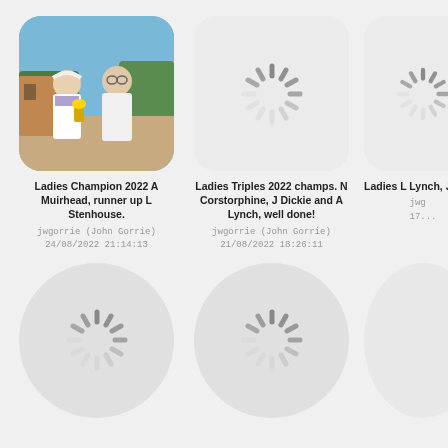[Figure (photo): Photo of two people, a woman and a man, posing with a trophy at a bowls club outdoor setting with trees in background]
Ladies Champion 2022 A Muirhead, runner up L Stenhouse.
jwgorrie (John Gorrie)
24/08/2022 21:14:13
[Figure (photo): Loading spinner image placeholder]
Ladies Triples 2022 champs. N Corstorphine, J Dickie and A Lynch, well done!
jwgorrie (John Gorrie)
21/08/2022 18:26:11
[Figure (photo): Loading spinner image placeholder - partially visible third column]
Ladies L Lynch, J M...
jwg
17...
[Figure (photo): Loading spinner image placeholder bottom row left]
[Figure (photo): Loading spinner image placeholder bottom row middle]
[Figure (photo): Loading spinner image placeholder bottom row right partial]